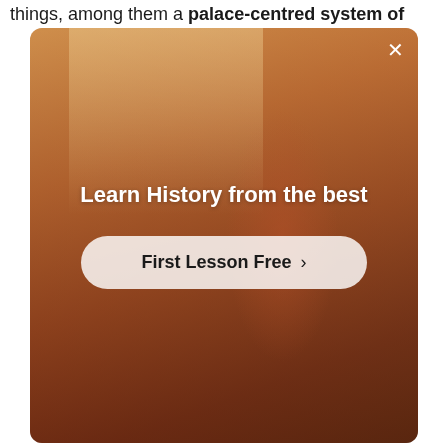things, among them a palace-centred system of
[Figure (screenshot): Modal popup overlay on a webpage showing a promotional banner for a history learning service. The background is a warm-toned photo of a person in a room. Text reads 'Learn History from the best' with a button 'First Lesson Free >']
gods.
This society waned, revived and ultimately fell when the Dorians invaded, bringing on the Greek Dark Ages – a time when people scattered across the land, forming small farming communities.
Th...